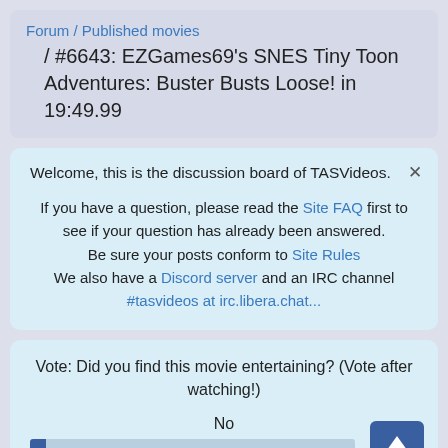Forum / Published movies / #6643: EZGames69's SNES Tiny Toon Adventures: Buster Busts Loose! in 19:49.99
Welcome, this is the discussion board of TASVideos. If you have a question, please read the Site FAQ first to see if your question has already been answered. Be sure your posts conform to Site Rules. We also have a Discord server and an IRC channel #tasvideos at irc.libera.chat...
Vote: Did you find this movie entertaining? (Vote after watching!)
No
3% [ 1 ]